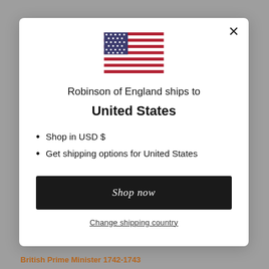[Figure (illustration): US flag SVG illustration]
Robinson of England ships to United States
Shop in USD $
Get shipping options for United States
Shop now
Change shipping country
British Prime Minister 1742-1743